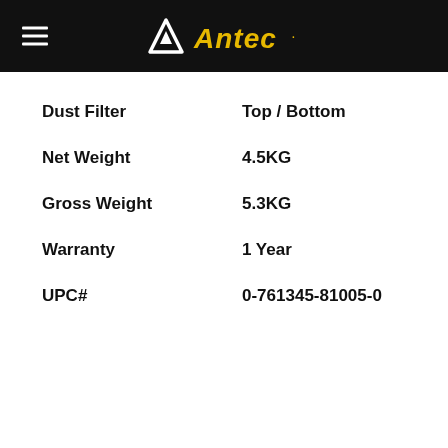Antec
| Specification | Value |
| --- | --- |
| Dust Filter | Top / Bottom |
| Net Weight | 4.5KG |
| Gross Weight | 5.3KG |
| Warranty | 1 Year |
| UPC# | 0-761345-81005-0 |